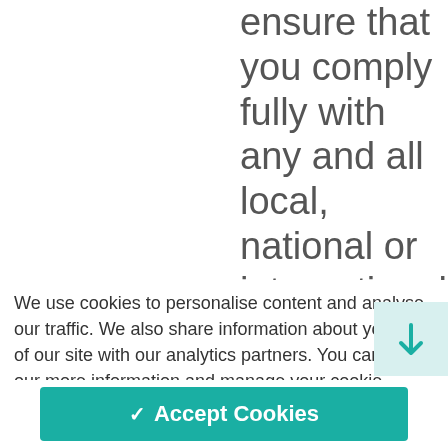ensure that you comply fully with any and all local, national or international laws and/or regulations; 10.1.2. you must not use Our Site in any
We use cookies to personalise content and analyse our traffic. We also share information about your use of our site with our analytics partners. You can find our more information and manage your cookie preferences here: Cookie Policy.